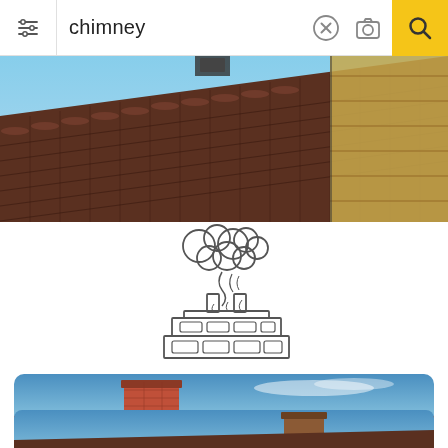[Figure (screenshot): Search bar UI with filter icon on left, search text 'chimney', X clear button, camera icon, and yellow search magnifier button on right]
[Figure (photo): Close-up photo of dark brown roof tiles against blue sky, partially showing wooden battens on the right side]
[Figure (illustration): Line drawing illustration of a brick chimney with smoke puffing out of the top, showing a simplified cartoon chimney structure]
[Figure (photo): Photo of a red/orange brick chimney rising above terracotta roof tiles against a blue sky with light clouds]
[Figure (photo): Partial photo at bottom showing another chimney on a roof against blue sky]